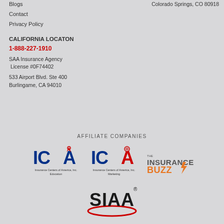Blogs
Contact
Privacy Policy
Colorado Springs, CO 80918
CALIFORNIA LOCATON
1-888-227-1910
SAA Insurance Agency
 License #0F74402
533 Airport Blvd. Ste 400
Burlingame, CA 94010
AFFILIATE COMPANIES
[Figure (logo): ICA Insurance Centers of America, Inc. Education logo]
[Figure (logo): ICA Insurance Centers of America, Inc. Marketing logo]
[Figure (logo): The InsuranceBuzz logo]
[Figure (logo): SIAA logo]